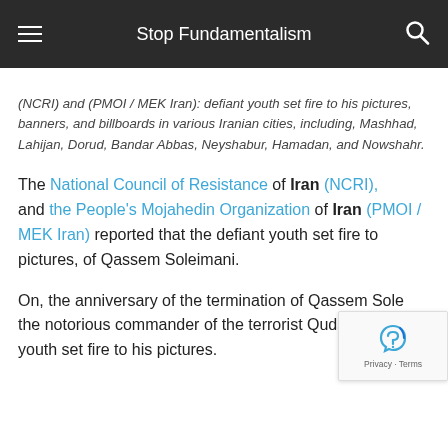Stop Fundamentalism
(NCRI) and (PMOI / MEK Iran): defiant youth set fire to his pictures, banners, and billboards in various Iranian cities, including, Mashhad, Lahijan, Dorud, Bandar Abbas, Neyshabur, Hamadan, and Nowshahr.
The National Council of Resistance of Iran (NCRI), and the People's Mojahedin Organization of Iran (PMOI / MEK Iran) reported that the defiant youth set fire to pictures, of Qassem Soleimani.
On, the anniversary of the termination of Qassem Soleimani, the notorious commander of the terrorist Quds Force, youth set fire to his pictures.